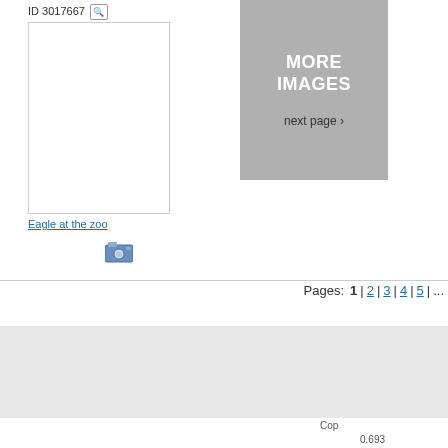ID 3017667
[Figure (photo): Blank white thumbnail image placeholder for an eagle at the zoo]
[Figure (other): More Images box in gray with text MORE IMAGES and next page link]
Eagle at the zoo
[Figure (other): Camera/portfolio icon]
Pages: 1 | 2 | 3 | 4 | 5 | ...
HELP
E-mail: help@cliparto.com
Contact Us
FAQ/Knowledge Base
ABOUT
About Us
Cliparto's News Blog
Last Downloads
Cop
0.693